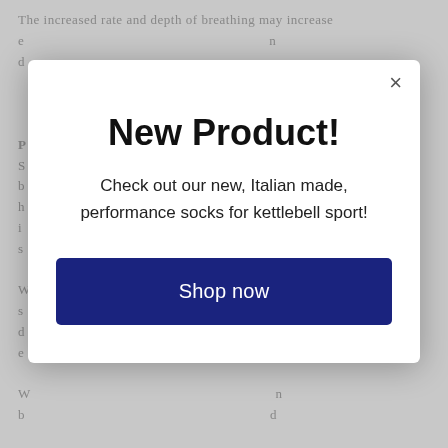The increased rate and depth of breathing may increase ... is not a lot of evidence pointing to potential inadequa... athletic groups, except in those athletes who are dieting, or who...
[Figure (screenshot): Modal popup dialog on a webpage with background text visible behind overlay. Modal contains title 'New Product!', description text, and a dark blue 'Shop now' button. A close (×) button appears in the top-right corner of the modal.]
New Product!
Check out our new, Italian made, performance socks for kettlebell sport!
Shop now